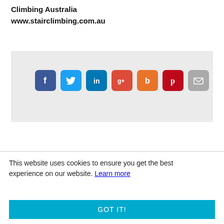Climbing Australia
www.stairclimbing.com.au
[Figure (infographic): Social media sharing icons in a grey box: Facebook (blue), Twitter (light blue), LinkedIn (dark blue), Google+ (red), Blogger (orange), Pinterest (dark red), Email (grey)]
This website uses cookies to ensure you get the best experience on our website. Learn more
GOT IT!